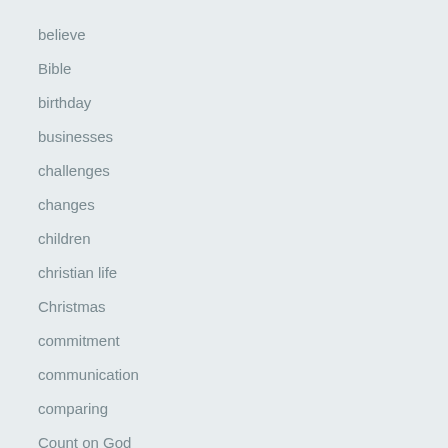believe
Bible
birthday
businesses
challenges
changes
children
christian life
Christmas
commitment
communication
comparing
Count on God